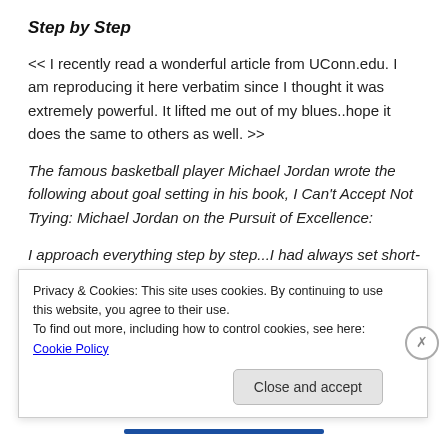Step by Step
<< I recently read a wonderful article from UConn.edu. I am reproducing it here verbatim since I thought it was extremely powerful. It lifted me out of my blues..hope it does the same to others as well. >>
The famous basketball player Michael Jordan wrote the following about goal setting in his book, I Can’t Accept Not Trying: Michael Jordan on the Pursuit of Excellence:
I approach everything step by step...I had always set short-
Privacy & Cookies: This site uses cookies. By continuing to use this website, you agree to their use. To find out more, including how to control cookies, see here: Cookie Policy
Close and accept